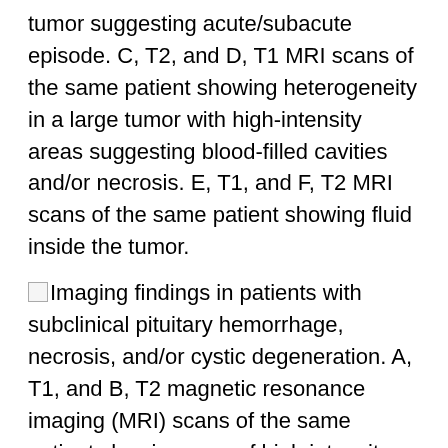tumor suggesting acute/subacute episode. C, T2, and D, T1 MRI scans of the same patient showing heterogeneity in a large tumor with high-intensity areas suggesting blood-filled cavities and/or necrosis. E, T1, and F, T2 MRI scans of the same patient showing fluid inside the tumor.
Imaging findings in patients with subclinical pituitary hemorrhage, necrosis, and/or cystic degeneration. A, T1, and B, T2 magnetic resonance imaging (MRI) scans of the same patient showing area of high intensity inside the tumor suggesting acute/subacute episode. C, T2, and D, T1 MRI scans of the same patient showing heterogeneity in a large tumor with high-intensity areas suggesting blood-filled cavities and/or necrosis. E, T1, and F, T2 MRI scans of the same patient showing fluid inside the tumor.
Patients with and without SPH were similar in age (median